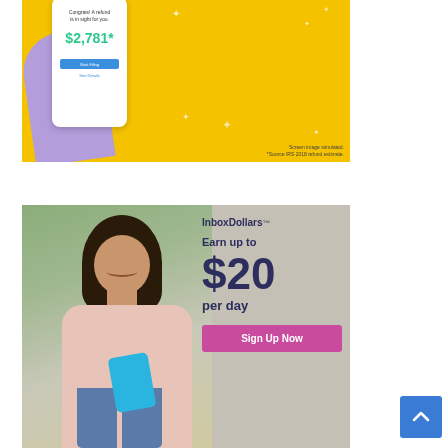[Figure (illustration): Advertisement on yellow background showing a purple-tinted hand holding a white smartphone displaying '$2,781*' tax refund amount. Text reads 'Congrats! A refund is in sight for you.' with fine print 'Screen image simulated. *Source IRS 2018 refund estimate.']
[Figure (photo): InboxDollars advertisement showing a smiling woman sitting outdoors using a smartphone. Text overlay reads 'InboxDollars Earn up to $20 per day' with a pink 'Sign Up Now' button.]